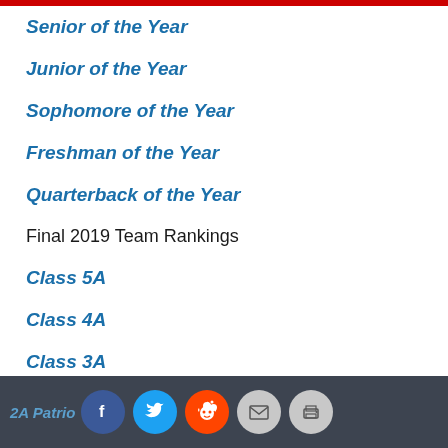Senior of the Year
Junior of the Year
Sophomore of the Year
Freshman of the Year
Quarterback of the Year
Final 2019 Team Rankings
Class 5A
Class 4A
Class 3A
Class 2A
Class 1A
Players of the Year by Conference
2A Patriots [rest] | Facebook | Twitter | Reddit | Email | Print